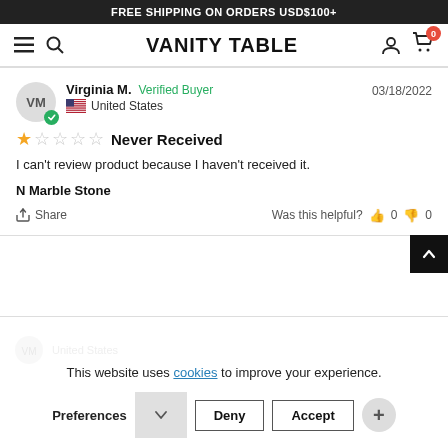FREE SHIPPING ON ORDERS USD$100+
[Figure (screenshot): Vanity Table e-commerce website navigation bar with hamburger menu, search icon, VANITY TABLE logo, user account icon, and cart icon with 0 badge]
Virginia M.  Verified Buyer  03/18/2022  United States
★☆☆☆☆  Never Received
I can't review product because I haven't received it.
N Marble Stone
Share  Was this helpful?  👍 0  👎 0
This website uses cookies to improve your experience.
Preferences  ▼  Deny  Accept